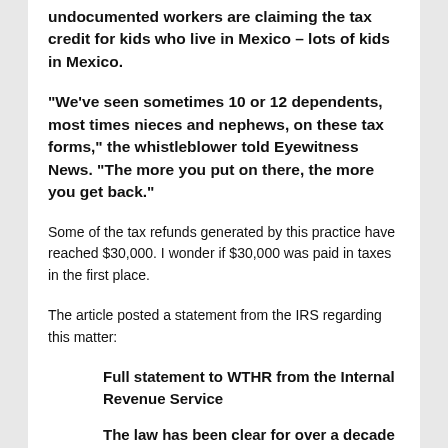undocumented workers are claiming the tax credit for kids who live in Mexico – lots of kids in Mexico.
“We’ve seen sometimes 10 or 12 dependents, most times nieces and nephews, on these tax forms,” the whistleblower told Eyewitness News. “The more you put on there, the more you get back.”
Some of the tax refunds generated by this practice have reached $30,000. I wonder if $30,000 was paid in taxes in the first place.
The article posted a statement from the IRS regarding this matter:
Full statement to WTHR from the Internal Revenue Service
The law has been clear for over a decade that eligibility for the credit is not determined by...